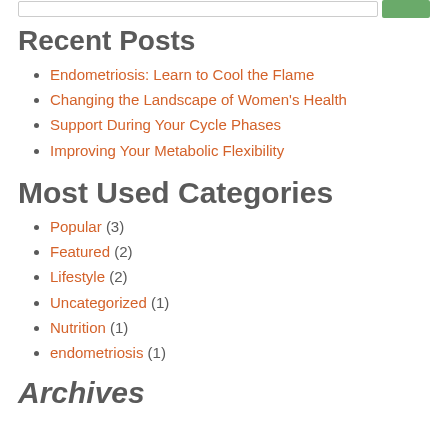Recent Posts
Endometriosis: Learn to Cool the Flame
Changing the Landscape of Women's Health
Support During Your Cycle Phases
Improving Your Metabolic Flexibility
Most Used Categories
Popular (3)
Featured (2)
Lifestyle (2)
Uncategorized (1)
Nutrition (1)
endometriosis (1)
Archives